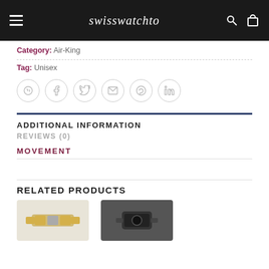swisswatchto
Category: Air-King
Tag: Unisex
[Figure (infographic): Row of 6 social sharing icons in circles: WhatsApp, Facebook, Twitter, Email, Pinterest, LinkedIn]
ADDITIONAL INFORMATION
REVIEWS (0)
MOVEMENT
RELATED PRODUCTS
[Figure (photo): Two product thumbnail images of watches at the bottom of the page]